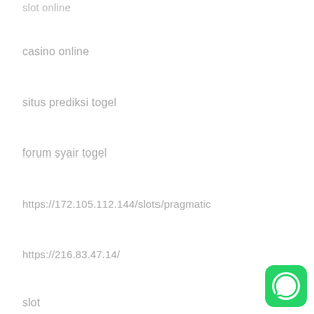slot online
casino online
situs prediksi togel
forum syair togel
https://172.105.112.144/slots/pragmatic
https://216.83.47.14/
slot
[Figure (logo): WhatsApp green logo icon in bottom right corner]